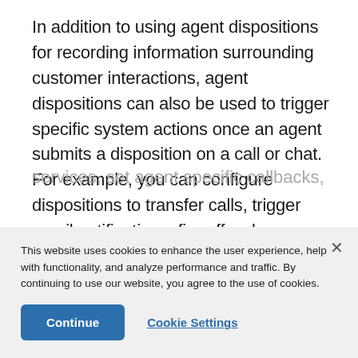In addition to using agent dispositions for recording information surrounding customer interactions, agent dispositions can also be used to trigger specific system actions once an agent submits a disposition on a call or chat. For example, you can configure dispositions to transfer calls, trigger email notifications, fire off web services, set agent specific callbacks, and
This website uses cookies to enhance the user experience, help with functionality, and analyze performance and traffic. By continuing to use our website, you agree to the use of cookies.
Continue
Cookie Settings